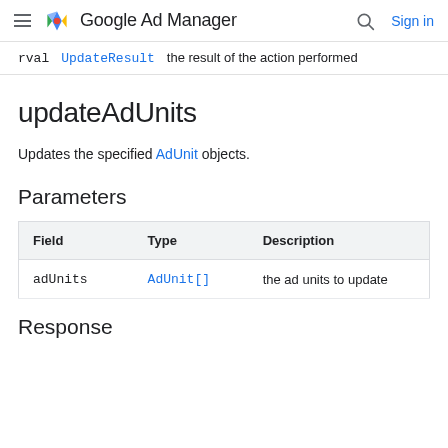Google Ad Manager — Sign in
| rval | UpdateResult | the result of the action performed |
| --- | --- | --- |
updateAdUnits
Updates the specified AdUnit objects.
Parameters
| Field | Type | Description |
| --- | --- | --- |
| adUnits | AdUnit[] | the ad units to update |
Response